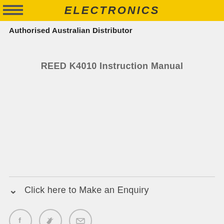ELECTRONICS
Authorised Australian Distributor
REED K4010 Instruction Manual
Click here to Make an Enquiry
[Figure (illustration): Social media icons: Facebook (f), Twitter (bird), Email (envelope)]